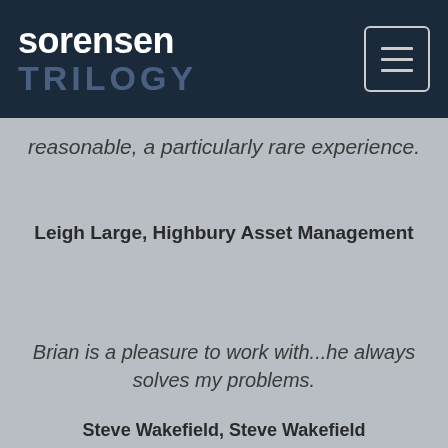sorensen TRILOGY
reasonable, a particularly rare experience.
Leigh Large, Highbury Asset Management
Brian is a pleasure to work with...he always solves my problems.
Steve Wakefield, Steve Wakefield